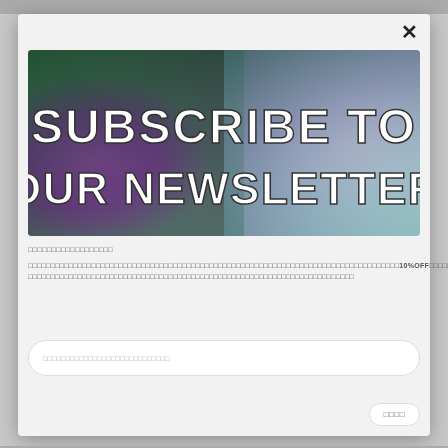[Figure (photo): Newsletter subscription popup modal with a banner image of a person's face partially hidden behind purple/lilac flowers with the text 'SUBSCRIBE TO OUR NEWSLETTER' overlaid in large bold white letters]
□□□□□□□□□□□□□□□□□□
□□□□□□□□□□□□□□□□□□□□□□□□□□□□□□□□□□□□□□□□□□□□□□□□□□□□□□□□□□□□□□□□□□□□□□□□□□□□□□□□□□□10%OFF□□□□□□□□□□□□□□□□□□□□□□□□□□□□□□□□□□□□□□□□□□□□□□□□□□□□□□□□□□□□□□□□□□□□□□□□□□□□□□□□□□□□□□□□□□□□□□□□□□□□□□
□□□□□□□□□□□□□□□□□□□□□□□□□□□□□□□□□□□□□□□□□□□□□□□□□□□□□□□□□□□□□□□□□□□□□□□□
□□□□□□□□□□□□□□□□□□□□□□□□□□□□
□□□□